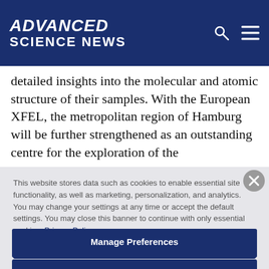ADVANCED SCIENCE NEWS
detailed insights into the molecular and atomic structure of their samples. With the European XFEL, the metropolitan region of Hamburg will be further strengthened as an outstanding centre for the exploration of the
This website stores data such as cookies to enable essential site functionality, as well as marketing, personalization, and analytics. You may change your settings at any time or accept the default settings. You may close this banner to continue with only essential cookies. Privacy Policy
Manage Preferences
Accept All
Reject All